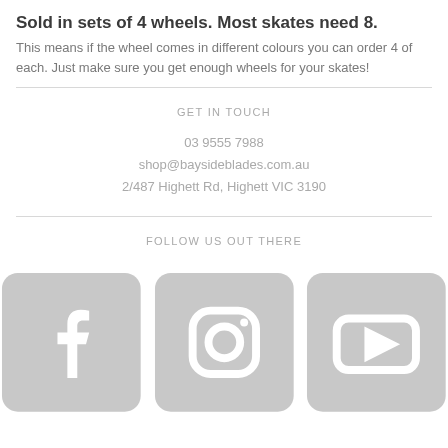Sold in sets of 4 wheels. Most skates need 8. This means if the wheel comes in different colours you can order 4 of each. Just make sure you get enough wheels for your skates!
GET IN TOUCH
03 9555 7988
shop@baysideblades.com.au
2/487 Highett Rd, Highett VIC 3190
FOLLOW US OUT THERE
[Figure (other): Social media icons: Facebook, Instagram, YouTube]